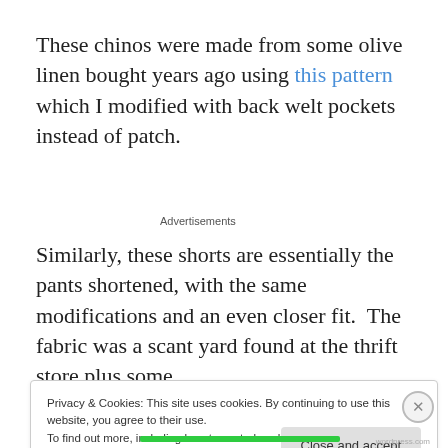These chinos were made from some olive linen bought years ago using this pattern which I modified with back welt pockets instead of patch.
Advertisements
Similarly, these shorts are essentially the pants shortened, with the same modifications and an even closer fit.  The fabric was a scant yard found at the thrift store plus some
Privacy & Cookies: This site uses cookies. By continuing to use this website, you agree to their use.
To find out more, including how to control cookies, see here: Cookie Policy
Close and accept